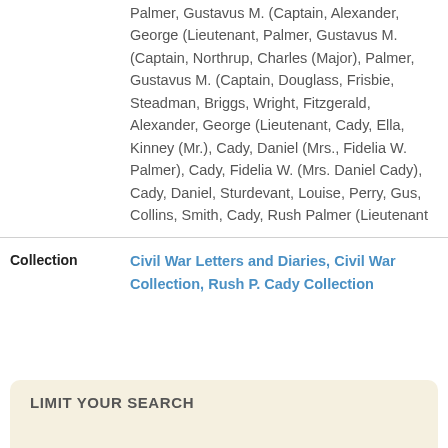Palmer, Gustavus M. (Captain, Alexander, George (Lieutenant, Palmer, Gustavus M. (Captain, Northrup, Charles (Major), Palmer, Gustavus M. (Captain, Douglass, Frisbie, Steadman, Briggs, Wright, Fitzgerald, Alexander, George (Lieutenant, Cady, Ella, Kinney (Mr.), Cady, Daniel (Mrs., Fidelia W. Palmer), Cady, Fidelia W. (Mrs. Daniel Cady), Cady, Daniel, Sturdevant, Louise, Perry, Gus, Collins, Smith, Cady, Rush Palmer (Lieutenant
Collection: Civil War Letters and Diaries, Civil War Collection, Rush P. Cady Collection
LIMIT YOUR SEARCH